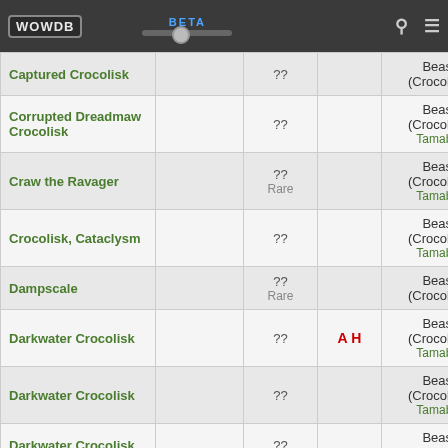WOWDB BETA
| Name |  | Level | Faction | Type |
| --- | --- | --- | --- | --- |
| Captured Crocolisk |  | ?? |  | Beast (Crocolisk) |
| Corrupted Dreadmaw Crocolisk |  | ?? |  | Beast (Crocolisk)
Tamable |
| Craw the Ravager |  | ??
Rare |  | Beast (Crocolisk)
Tamable |
| Crocolisk, Cataclysm |  | ?? |  | Beast (Crocolisk)
Tamable |
| Dampscale |  | ??
Rare |  | Beast (Crocolisk) |
| Darkwater Crocolisk |  | ?? | A H | Beast (Crocolisk)
Tamable |
| Darkwater Crocolisk |  | ?? |  | Beast (Crocolisk)
Tamable |
| Darkwater Crocolisk |  | ?? |  | Beast (Crocolisk) |